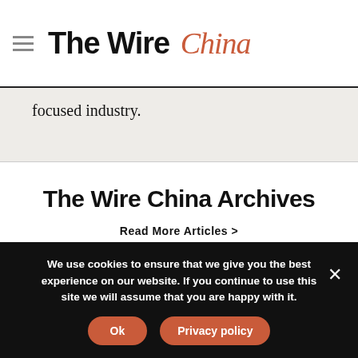The Wire China
focused industry.
The Wire China Archives
Read More Articles >
We use cookies to ensure that we give you the best experience on our website. If you continue to use this site we will assume that you are happy with it.